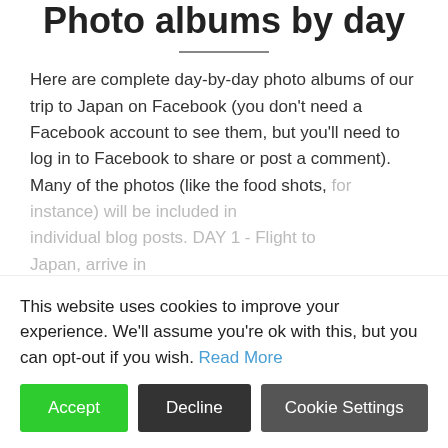Photo albums by day
Here are complete day-by-day photo albums of our trip to Japan on Facebook (you don't need a Facebook account to see them, but you'll need to log in to Facebook to share or post a comment). Many of the photos (like the food shots, for instance) will be included in individual blog posts. DAY 1 - Flight to Japan, arrive in
This website uses cookies to improve your experience. We'll assume you're ok with this, but you can opt-out if you wish. Read More
Accept
Decline
Cookie Settings